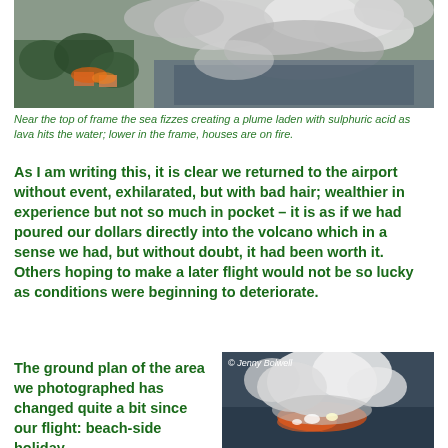[Figure (photo): Aerial photograph showing smoke plumes and fire from lava hitting the sea and burning houses]
Near the top of frame the sea fizzes creating a plume laden with sulphuric acid as lava hits the water; lower in the frame, houses are on fire.
As I am writing this, it is clear we returned to the airport without event, exhilarated, but with bad hair; wealthier in experience but not so much in pocket – it is as if we had poured our dollars directly into the volcano which in a sense we had, but without doubt, it had been worth it. Others hoping to make a later flight would not be so lucky as conditions were beginning to deteriorate.
The ground plan of the area we photographed has changed quite a bit since our flight: beach-side holiday
[Figure (photo): Photo credited to Jenny Bolwell showing volcanic steam and lava plume over water]